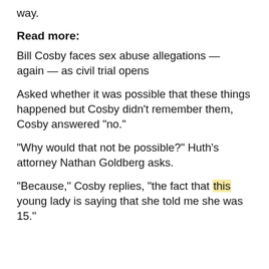way.
Read more:
Bill Cosby faces sex abuse allegations — again — as civil trial opens
Asked whether it was possible that these things happened but Cosby didn't remember them, Cosby answered “no.”
“Why would that not be possible?” Huth’s attorney Nathan Goldberg asks.
“Because,” Cosby replies, “the fact that this young lady is saying that she told me she was 15.”